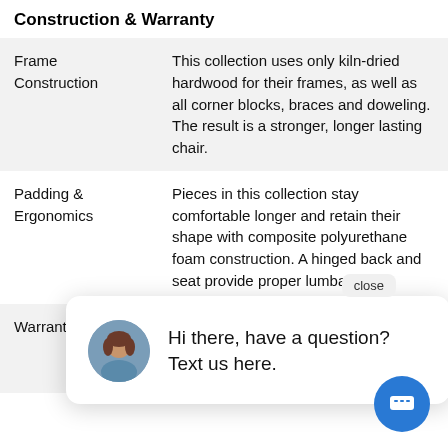Construction & Warranty
|  |  |
| --- | --- |
| Frame Construction | This collection uses only kiln-dried hardwood for their frames, as well as all corner blocks, braces and doweling. The result is a stronger, longer lasting chair. |
| Padding & Ergonomics | Pieces in this collection stay comfortable longer and retain their shape with composite polyurethane foam construction. A hinged back and seat provide proper lumbar support and just |
| Warranty | reclining mechanisms, springs and spring systems, and wood frame parts with a lifetime warranty. |
[Figure (screenshot): Chat popup overlay with woman avatar and text 'Hi there, have a question? Text us here.' along with a close button and blue chat FAB button.]